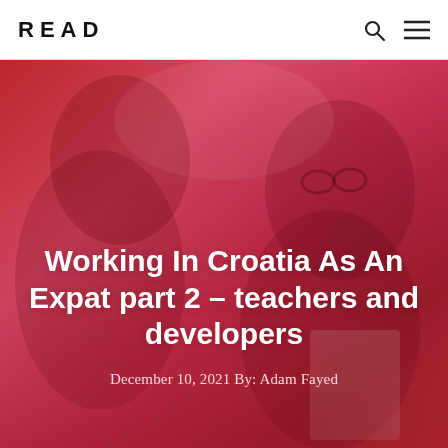READ
[Figure (photo): Two men shaking hands or conversing, with a red color overlay. One man wears glasses and a patterned shirt. Background is blurred, warm tones under red filter.]
Working In Croatia As An Expat part 2 – teachers and developers
December 10, 2021 By: Adam Fayed